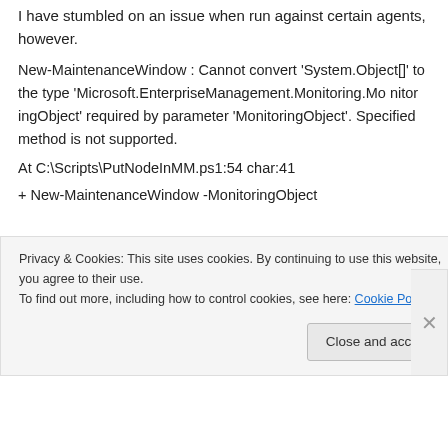I have stumbled on an issue when run against certain agents, however.
New-MaintenanceWindow : Cannot convert 'System.Object[]' to the type 'Microsoft.EnterpriseManagement.Monitoring.MonitoringObject' required by parameter 'MonitoringObject'. Specified method is not supported.
At C:\Scripts\PutNodeInMM.ps1:54 char:41
+ New-MaintenanceWindow -MonitoringObject
Privacy & Cookies: This site uses cookies. By continuing to use this website, you agree to their use. To find out more, including how to control cookies, see here: Cookie Policy
Close and accept